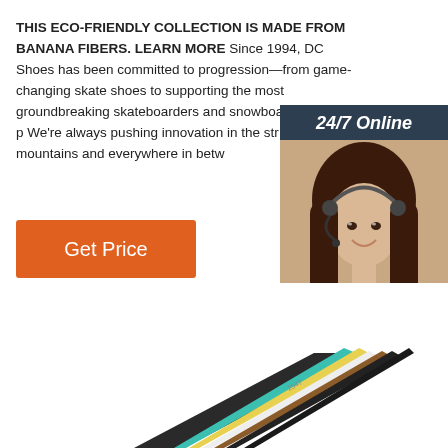THIS ECO-FRIENDLY COLLECTION IS MADE FROM BANANA FIBERS. LEARN MORE Since 1994, DC Shoes has been committed to progression—from game-changing skate shoes to supporting the most groundbreaking skateboarders and snowboarders on the p We're always pushing innovation in the str on the mountains and everywhere in betw
[Figure (photo): Customer service representative woman wearing a headset smiling, with '24/7 Online' text header and 'Click here for free chat!' text with QUOTATION button, dark blue-gray background sidebar]
Get Price
[Figure (photo): Bundled cables/wires of various colors including teal, yellow, white, and brown/black, shown at bottom of page]